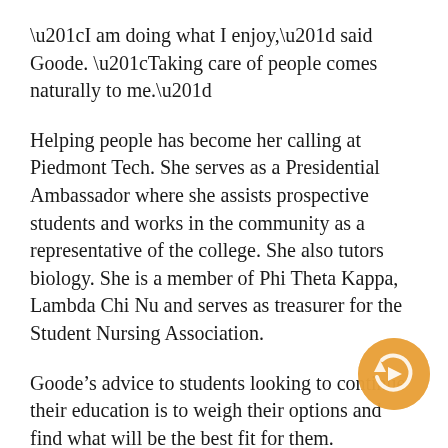“I am doing what I enjoy,” said Goode. “Taking care of people comes naturally to me.”
Helping people has become her calling at Piedmont Tech. She serves as a Presidential Ambassador where she assists prospective students and works in the community as a representative of the college. She also tutors biology. She is a member of Phi Theta Kappa, Lambda Chi Nu and serves as treasurer for the Student Nursing Association.
Goode’s advice to students looking to continue their education is to weigh their options and find what will be the best fit for them.
“With Piedmont Tech, it’s like a family here,” she said. “You get to know the faculty and staff and that makes you feel more comfortable about going to school. When you feel comfortable, it tends to show in your study habits and your grades. When that happens, you graduate and you can